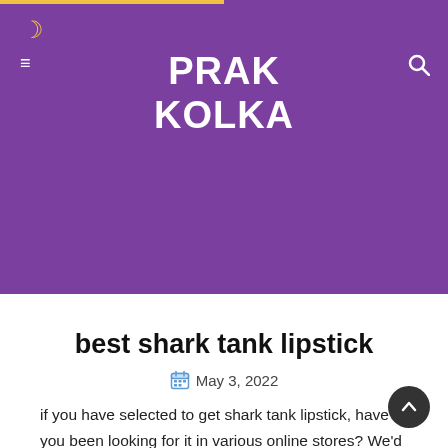PRAK KOLKA
best shark tank lipstick
May 3, 2022
if you have selected to get shark tank lipstick, have you been looking for it in various online stores? We'd love to help you get the shark tank lipstick that best suits your wishes. However, we are committed to providing the best for our customers, so let's get involved and our family and yours together will achieve it right now.